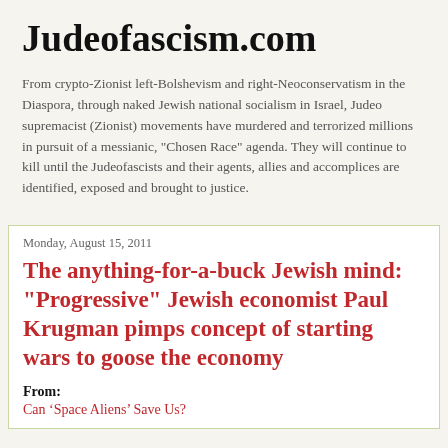Judeofascism.com
From crypto-Zionist left-Bolshevism and right-Neoconservatism in the Diaspora, through naked Jewish national socialism in Israel, Judeo supremacist (Zionist) movements have murdered and terrorized millions in pursuit of a messianic, "Chosen Race" agenda. They will continue to kill until the Judeofascists and their agents, allies and accomplices are identified, exposed and brought to justice.
Monday, August 15, 2011
The anything-for-a-buck Jewish mind: "Progressive" Jewish economist Paul Krugman pimps concept of starting wars to goose the economy
From:
Can ‘Space Aliens’ Save Us?